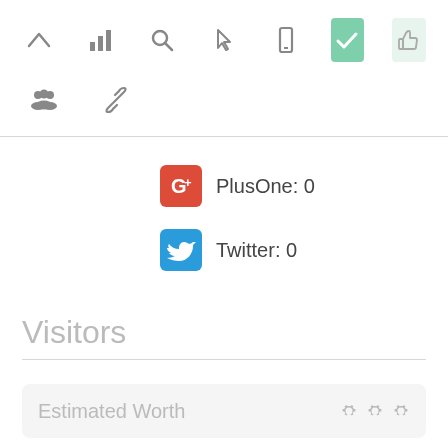[Figure (screenshot): Toolbar row 1 with icons: caret up, bar chart, search, pointer/cursor, mobile, active green checkmark button, light green thumbs-up button]
[Figure (screenshot): Toolbar row 2 with icons: group/people, chain/link]
PlusOne: 0
Twitter: 0
Visitors
Estimated Worth